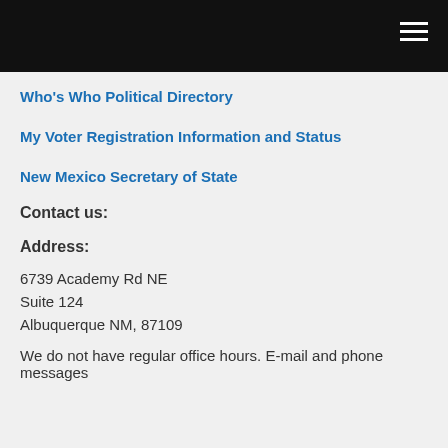Who's Who Political Directory
My Voter Registration Information and Status
New Mexico Secretary of State
Contact us:
Address:
6739 Academy Rd NE
Suite 124
Albuquerque NM, 87109
We do not have regular office hours. E-mail and phone messages